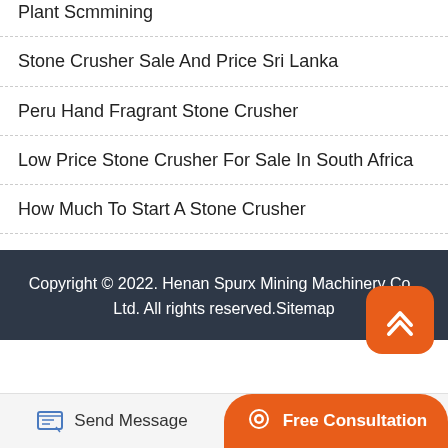Plant Scmmining
Stone Crusher Sale And Price Sri Lanka
Peru Hand Fragrant Stone Crusher
Low Price Stone Crusher For Sale In South Africa
How Much To Start A Stone Crusher
Copyright © 2022. Henan Spurx Mining Machinery Co., Ltd. All rights reserved.Sitemap
Send Message
Free Consultation